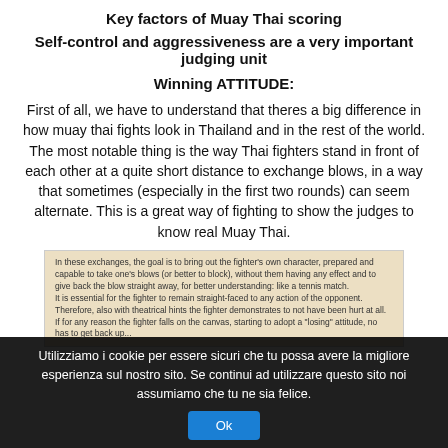Key factors of Muay Thai scoring
Self-control and aggressiveness are a very important judging unit
Winning ATTITUDE:
First of all, we have to understand that theres a big difference in how muay thai fights look in Thailand and in the rest of the world. The most notable thing is the way Thai fighters stand in front of each other at a quite short distance to exchange blows, in a way that sometimes (especially in the first two rounds) can seem alternate. This is a great way of fighting to show the judges to know real Muay Thai.
[Figure (screenshot): Screenshot of article text with tan/beige background discussing fighter exchanges and maintaining composure in Muay Thai]
Utilizziamo i cookie per essere sicuri che tu possa avere la migliore esperienza sul nostro sito. Se continui ad utilizzare questo sito noi assumiamo che tu ne sia felice.